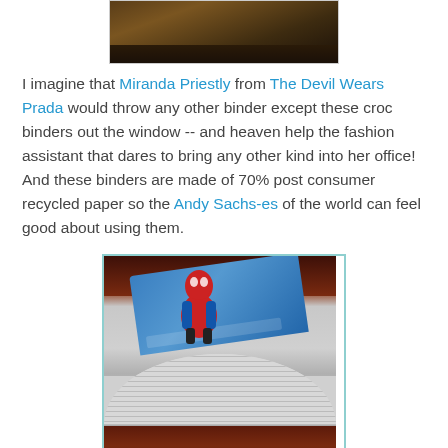[Figure (photo): Top portion of a photo showing a wooden box or object with metal hardware on a dark background]
I imagine that Miranda Priestly from The Devil Wears Prada would throw any other binder except these croc binders out the window -- and heaven help the fashion assistant that dares to bring any other kind into her office! And these binders are made of 70% post consumer recycled paper so the Andy Sachs-es of the world can feel good about using them.
[Figure (photo): Photo of a Spiderman binder fan/spread showing pages fanned out with a Spiderman graphic on a blue cover, with the pages displaying striped paper edges, and a dark wood table surface visible]